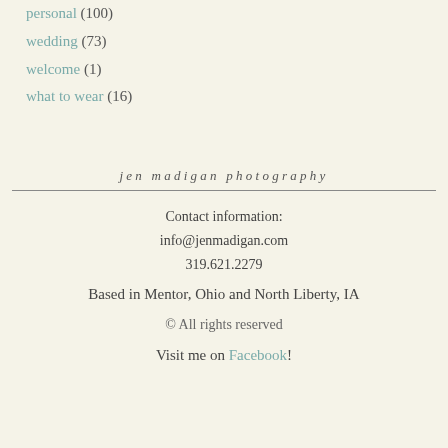personal (100)
wedding (73)
welcome (1)
what to wear (16)
jen madigan photography
Contact information:
info@jenmadigan.com
319.621.2279
Based in Mentor, Ohio and North Liberty, IA
© All rights reserved
Visit me on Facebook!